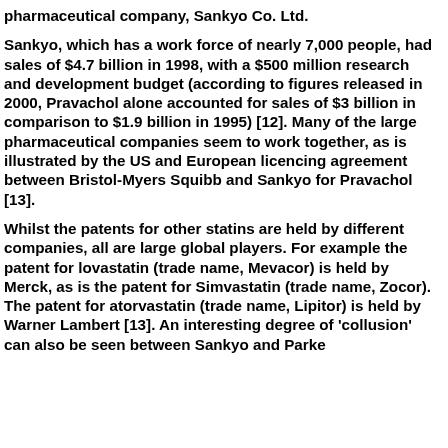pharmaceutical company, Sankyo Co. Ltd.
Sankyo, which has a work force of nearly 7,000 people, had sales of $4.7 billion in 1998, with a $500 million research and development budget (according to figures released in 2000, Pravachol alone accounted for sales of $3 billion in comparison to $1.9 billion in 1995) [12]. Many of the large pharmaceutical companies seem to work together, as is illustrated by the US and European licencing agreement between Bristol-Myers Squibb and Sankyo for Pravachol [13].
Whilst the patents for other statins are held by different companies, all are large global players. For example the patent for lovastatin (trade name, Mevacor) is held by Merck, as is the patent for Simvastatin (trade name, Zocor). The patent for atorvastatin (trade name, Lipitor) is held by Warner Lambert [13]. An interesting degree of 'collusion' can also be seen between Sankyo and Parke